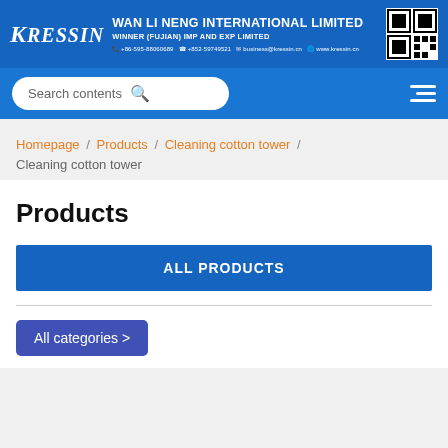KRESSIN WAN LI NENG INTERNATIONAL LIMITED WINNER (FUJIAN) IMP AND EXP LIMITED +86-595-88060689 +852-59749521 business@kressin.cn www.kressin.cn
Search contents
Homepage / Products / Cleaning cotton tower / Cleaning cotton tower
Products
ALL PRODUCTS
All categories >